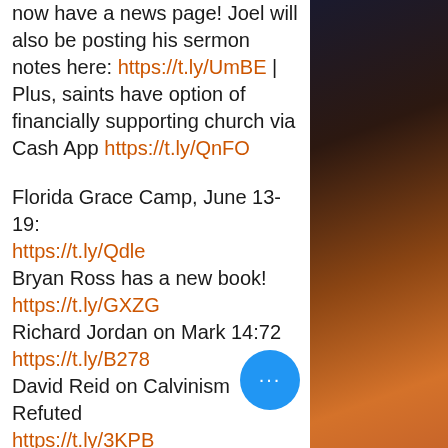now have a news page! Joel will also be posting his sermon notes here: https://t.ly/UmBE | Plus, saints have option of financially supporting church via Cash App https://t.ly/QnFO
Florida Grace Camp, June 13-19: https://t.ly/Qdle Bryan Ross has a new book! https://t.ly/GXZG Richard Jordan on Mark 14:72 https://t.ly/B278 David Reid on Calvinism Refuted https://t.ly/3KPB Josh Strelecki on Romans 12 https://t.ly/Wkxl Brian Johnson on Romans 2 https://t.ly/XQSF Tom Bruscha on OT Salvation, pt. 5 https://t.ly/VOJE Paul Turner II on What Can We Do Prepare https://t.ly/cHel